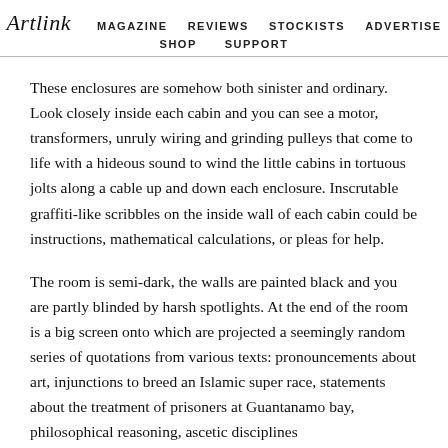Artlink  MAGAZINE  REVIEWS  STOCKISTS  ADVERTISE  SHOP  SUPPORT
These enclosures are somehow both sinister and ordinary. Look closely inside each cabin and you can see a motor, transformers, unruly wiring and grinding pulleys that come to life with a hideous sound to wind the little cabins in tortuous jolts along a cable up and down each enclosure. Inscrutable graffiti-like scribbles on the inside wall of each cabin could be instructions, mathematical calculations, or pleas for help.
The room is semi-dark, the walls are painted black and you are partly blinded by harsh spotlights. At the end of the room is a big screen onto which are projected a seemingly random series of quotations from various texts: pronouncements about art, injunctions to breed an Islamic super race, statements about the treatment of prisoners at Guantanamo bay, philosophical reasoning, ascetic disciplines